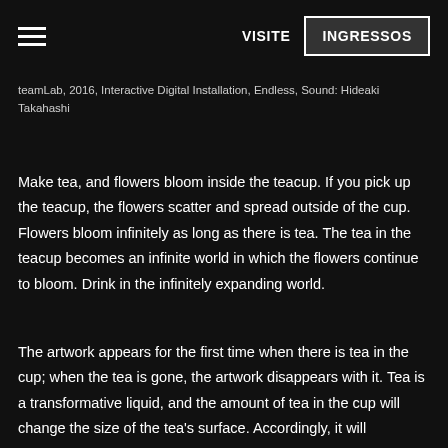VISITE | INGRESSOS
teamLab, 2016, Interactive Digital Installation, Endless, Sound: Hideaki Takahashi
Make tea, and flowers bloom inside the teacup. If you pick up the teacup, the flowers scatter and spread outside of the cup. Flowers bloom infinitely as long as there is tea. The tea in the teacup becomes an infinite world in which the flowers continue to bloom. Drink in the infinitely expanding world.
The artwork appears for the first time when there is tea in the cup; when the tea is gone, the artwork disappears with it. Tea is a transformative liquid, and the amount of tea in the cup will change the size of the tea's surface. Accordingly, it will